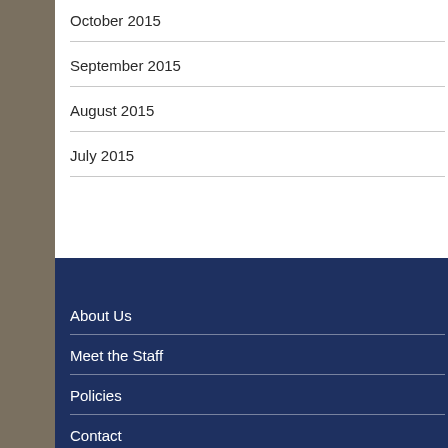October 2015
September 2015
August 2015
July 2015
About Us
Meet the Staff
Policies
Contact